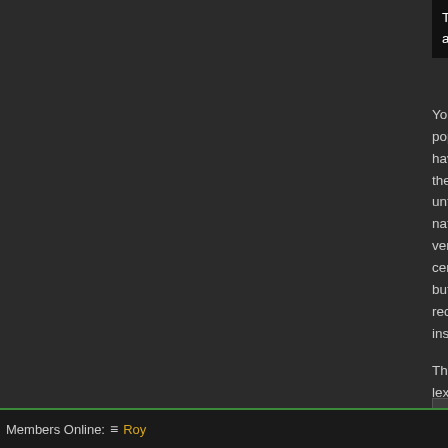This pretty much automatically implies that tr... are "fake".
Your points earlier about the lack of generaliza... population are probably the primary contributor... having no experience with people whose socia... their natural sex, have no reason to differentia... until confronted with the issue. With no basis fo... natural conclusion to is label the new interpreta... version of what we know to be real. The conno... certainly negative (though 'different' connotatio... but the only way to fix the issue is to create a l... recognize and can therefore utilize instead of '... insufficient terminology.
The point is not to create a real/fake dichotomy... lexicon to describe the additional dimension of... in a light which does not have negative connota... satisfy the requirements of the existing termino... in addition to accurately describing the additio... insert gender description here-").
If we have two redundant sets of terminology ('... problems with re-appropriating one for use in t... already widespread in academia. However the... (i.e. merriam-webster) needs to be updated to... to cause confusion.
Quote
Members Online:  Roy